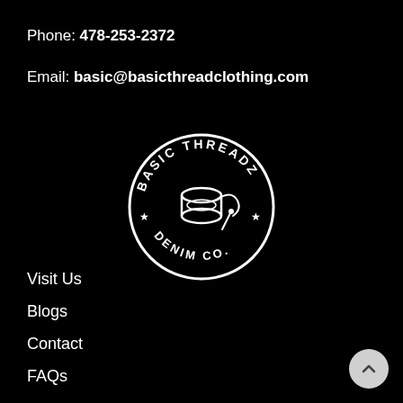Phone: 478-253-2372
Email: basic@basicthreadclothing.com
[Figure (logo): Basic Threadz Denim Co. circular logo in white on black background, featuring a spool of thread in the center with text around the circle]
Visit Us
Blogs
Contact
FAQs